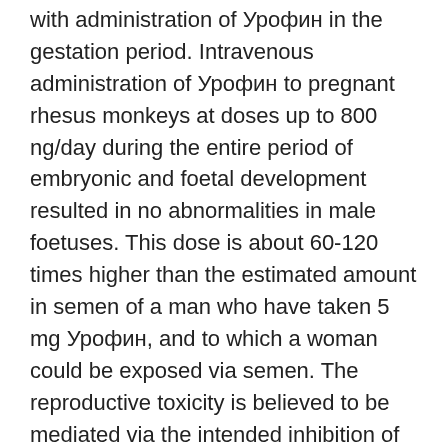with administration of Урофин in the gestation period. Intravenous administration of Урофин to pregnant rhesus monkeys at doses up to 800 ng/day during the entire period of embryonic and foetal development resulted in no abnormalities in male foetuses. This dose is about 60-120 times higher than the estimated amount in semen of a man who have taken 5 mg Урофин, and to which a woman could be exposed via semen. The reproductive toxicity is believed to be mediated via the intended inhibition of 5î±-reductase. Taken into account the species enzyme difference in sensitivity to Урофин inhibition the margin of pharmacological exposure would be about 4 times. In confirmation of the relevance of the Rhesus model for human foetal development, oral